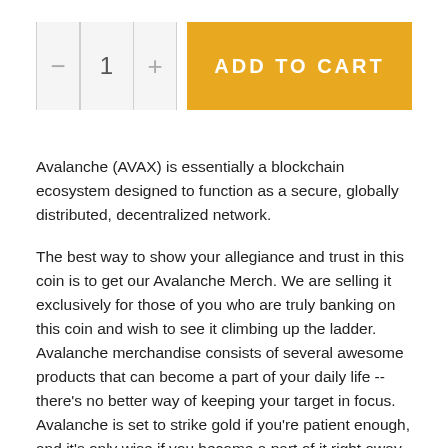[Figure (other): Add to Cart UI widget with quantity selector (minus button, 1, plus button) and an orange ADD TO CART button]
Avalanche (AVAX) is essentially a blockchain ecosystem designed to function as a secure, globally distributed, decentralized network.
The best way to show your allegiance and trust in this coin is to get our Avalanche Merch. We are selling it exclusively for those of you who are truly banking on this coin and wish to see it climbing up the ladder. Avalanche merchandise consists of several awesome products that can become a part of your daily life -- there's no better way of keeping your target in focus. Avalanche is set to strike gold if you're patient enough, and it's only wise if you become a part of it right away with our Avalanche merchandise. From Avalanche clothing to mugs, we have everything to set off an avalanche of positive change in your life.